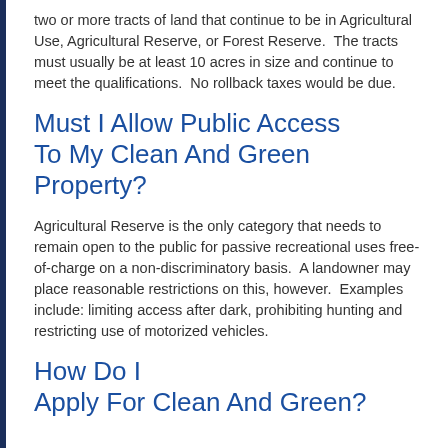two or more tracts of land that continue to be in Agricultural Use, Agricultural Reserve, or Forest Reserve.  The tracts must usually be at least 10 acres in size and continue to meet the qualifications.  No rollback taxes would be due.
Must I Allow Public Access To My Clean And Green Property?
Agricultural Reserve is the only category that needs to remain open to the public for passive recreational uses free-of-charge on a non-discriminatory basis.  A landowner may place reasonable restrictions on this, however.  Examples include: limiting access after dark, prohibiting hunting and restricting use of motorized vehicles.
How Do I Apply For Clean And Green?